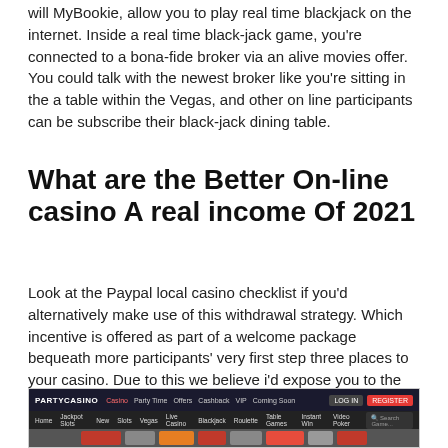will MyBookie, allow you to play real time blackjack on the internet. Inside a real time black-jack game, you're connected to a bona-fide broker via an alive movies offer. You could talk with the newest broker like you're sitting in the a table within the Vegas, and other on line participants can be subscribe their black-jack dining table.
What are the Better On-line casino A real income Of 2021
Look at the Paypal local casino checklist if you'd alternatively make use of this withdrawal strategy. Which incentive is offered as part of a welcome package bequeath more participants' very first step three places to your casino. Due to this we believe i'd expose you to the best casino bonuses readily available in britain field. Pokerstars Casino embraces the fresh Uk participants with50 no-deposit 100 % free spins for the registration.
[Figure (screenshot): Screenshot of PartyCasino website showing navigation bar with logo, menu items (Casino highlighted in red, Party Time, Offers, Cashback, VIP, Coming Soon), Login and Register buttons, and a secondary navigation bar with game categories.]